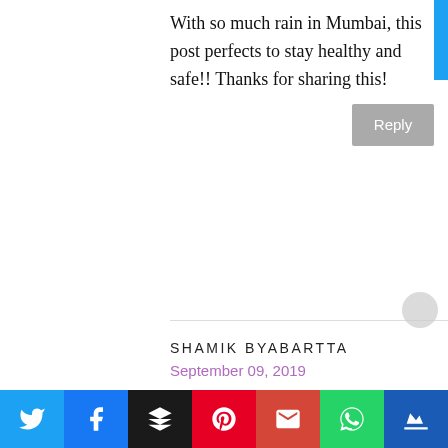With so much rain in Mumbai, this post perfects to stay healthy and safe!! Thanks for sharing this!
Reply
SHAMIK BYABARTTA
September 09, 2019
A relevant post for the season. Thank you Doctor for sharing